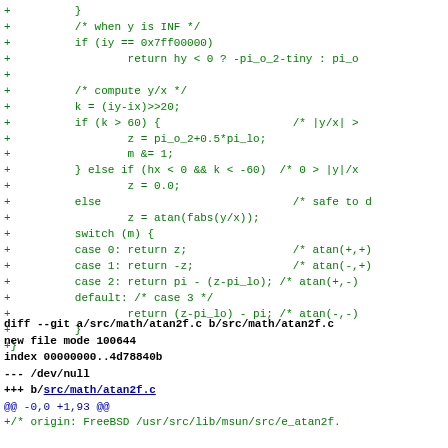Code diff showing atan2 implementation lines with + markers in green monospace
diff --git a/src/math/atan2f.c b/src/math/atan2f.c
new file mode 100644
index 00000000..4d78840b
--- /dev/null
+++ b/src/math/atan2f.c
@@ -0,0 +1,93 @@
+/* origin: FreeBSD /usr/src/lib/msun/src/e_atan2f.